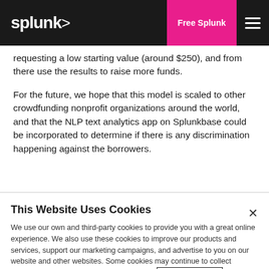splunk> | Free Splunk | ≡
requesting a low starting value (around $250), and from there use the results to raise more funds.
For the future, we hope that this model is scaled to other crowdfunding nonprofit organizations around the world, and that the NLP text analytics app on Splunkbase could be incorporated to determine if there is any discrimination happening against the borrowers.
This Website Uses Cookies
We use our own and third-party cookies to provide you with a great online experience. We also use these cookies to improve our products and services, support our marketing campaigns, and advertise to you on our website and other websites. Some cookies may continue to collect information after you have left our website. Learn more here ›
Accept Cookies   Cookies Settings ›